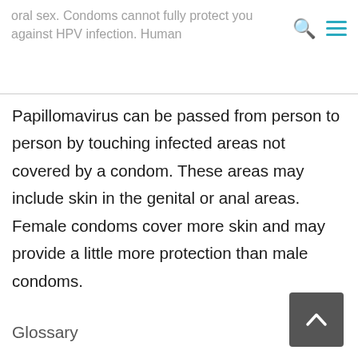oral sex. Condoms cannot fully protect you against HPV infection. Human
Papillomavirus can be passed from person to person by touching infected areas not covered by a condom. These areas may include skin in the genital or anal areas. Female condoms cover more skin and may provide a little more protection than male condoms.
Glossary